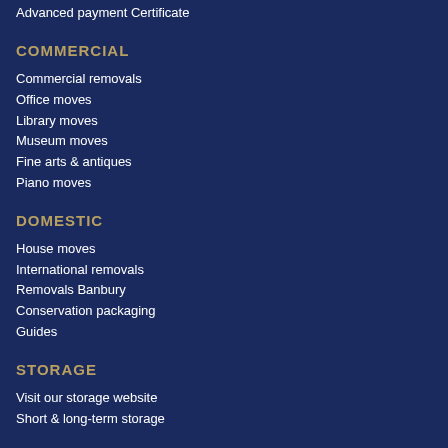Advanced payment Certificate
COMMERCIAL
Commercial removals
Office moves
Library moves
Museum moves
Fine arts & antiques
Piano moves
DOMESTIC
House moves
International removals
Removals Banbury
Conservation packaging
Guides
STORAGE
Visit our storage website
Short & long-term storage